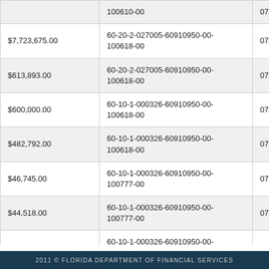| Amount | Policy/Certificate Number | Date |
| --- | --- | --- |
|  | 100610-00 | 07/0... |
| $7,723,675.00 | 60-20-2-027005-60910950-00-100618-00 | 07/0... |
| $613,893.00 | 60-20-2-027005-60910950-00-100618-00 | 07/0... |
| $600,000.00 | 60-10-1-000326-60910950-00-100618-00 | 07/0... |
| $482,792.00 | 60-10-1-000326-60910950-00-100618-00 | 07/0... |
| $46,745.00 | 60-10-1-000326-60910950-00-100777-00 | 07/0... |
| $44,518.00 | 60-10-1-000326-60910950-00-100777-00 | 07/0... |
| $575,000.00 | 60-10-1-000326-60910950-00-100778-00 | 07/0... |
| $259,382.00 | 60-10-1-000326-60910950-00-101350-00 | 07/0... |
| $78,076.00 | 60-20-2-261015-60910950-00-106220-00 | 07/0... |
| $767,926.00 | 60-20-2-401001-60910950-00-100610-00 | -- -... |
2011 © FLORIDA DEPARTMENT OF FINANCIAL SERVICES